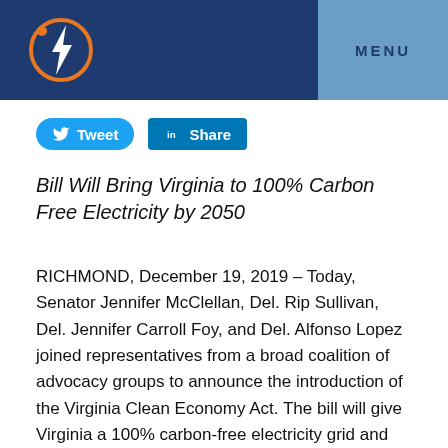MENU
[Figure (logo): Lightning bolt icon in orange circle on dark navy background]
Tweet  Share
Bill Will Bring Virginia to 100% Carbon Free Electricity by 2050
RICHMOND, December 19, 2019 – Today, Senator Jennifer McClellan, Del. Rip Sullivan, Del. Jennifer Carroll Foy, and Del. Alfonso Lopez joined representatives from a broad coalition of advocacy groups to announce the introduction of the Virginia Clean Economy Act. The bill will give Virginia a 100% carbon-free electricity grid and eliminate carbon pollution by Virginia's utilities by 2050. The act will lower monthly utility bills, create tens of thousands of new clean energy jobs, and give us cleaner air, while tackling climate change and